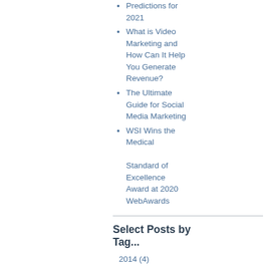Predictions for 2021
What is Video Marketing and How Can It Help You Generate Revenue?
The Ultimate Guide for Social Media Marketing
WSI Wins the Medical Standard of Excellence Award at 2020 WebAwards
Select Posts by Tag...
2014 (4)